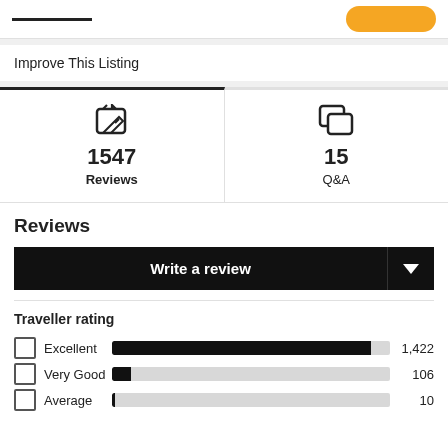Improve This Listing
1547 Reviews | 15 Q&A
Reviews
Write a review
Traveller rating
Excellent 1,422
Very Good 106
Average 10